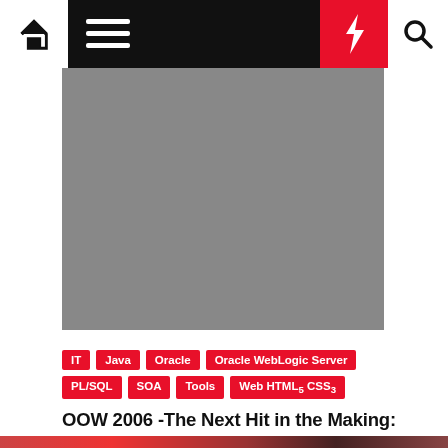Navigation bar with home, menu, lightning, and search icons
[Figure (photo): Gray hero image placeholder]
IT
Java
Oracle
Oracle WebLogic Server
PL/SQL
SOA
Tools
Web HTML5 CSS3
OOW 2006 -The Next Hit in the Making: Oracle WebCenter – Light weight, alL…
Lucas Jellema  October 23, 2006  2